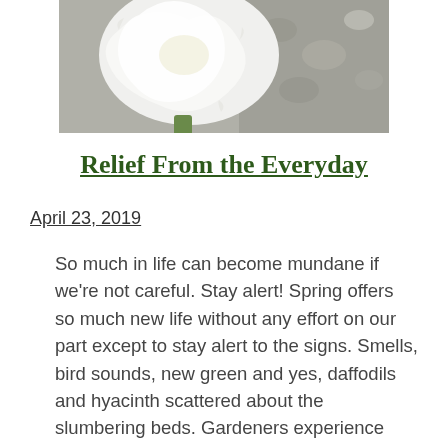[Figure (photo): Close-up photograph of a white flower (possibly an iris or tulip) with a blurred rocky/gravelly background]
Relief From the Everyday
April 23, 2019
So much in life can become mundane if we're not careful. Stay alert! Spring offers so much new life without any effort on our part except to stay alert to the signs. Smells, bird sounds, new green and yes, daffodils and hyacinth scattered about the slumbering beds. Gardeners experience firsthand the benefits we draw from gardening. I love my gardens and am inspired every time I look out over them.